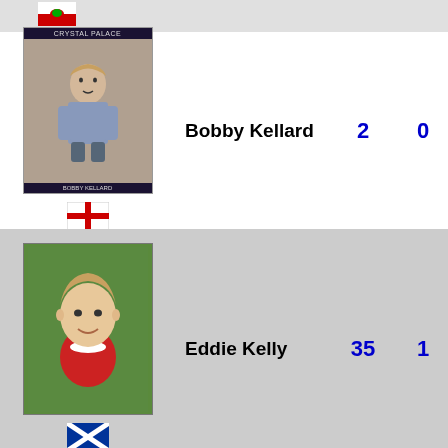[Figure (photo): Wales flag icon at top of page]
[Figure (photo): Bobby Kellard Crystal Palace football card photo]
[Figure (illustration): England cross flag icon (red cross on white)]
Bobby Kellard    2    0
[Figure (photo): Eddie Kelly footballer portrait card on green background]
[Figure (illustration): Scotland flag icon (blue with white cross)]
Eddie Kelly    35    1
[Figure (photo): Phil King footballer photo in yellow shirt]
[Figure (illustration): England cross flag icon (red cross on white)]
Phil King    24    3
[Figure (photo): Partial footballer card at bottom of page on green/teal background]